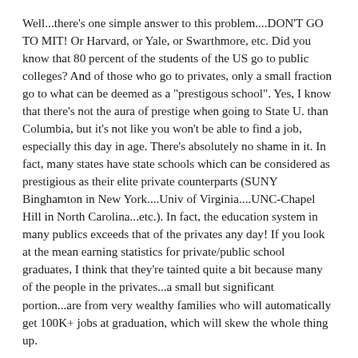Well...there's one simple answer to this problem....DON'T GO TO MIT! Or Harvard, or Yale, or Swarthmore, etc. Did you know that 80 percent of the students of the US go to public colleges? And of those who go to privates, only a small fraction go to what can be deemed as a "prestigous school". Yes, I know that there's not the aura of prestige when going to State U. than Columbia, but it's not like you won't be able to find a job, especially this day in age. There's absolutely no shame in it. In fact, many states have state schools which can be considered as prestigious as their elite private counterparts (SUNY Binghamton in New York....Univ of Virginia....UNC-Chapel Hill in North Carolina...etc.). In fact, the education system in many publics exceeds that of the privates any day! If you look at the mean earning statistics for private/public school graduates, I think that they're tainted quite a bit because many of the people in the privates...a small but significant portion...are from very wealthy families who will automatically get 100K+ jobs at graduation, which will skew the whole thing up.
I just can't stand listening to students/parents who whine about the cost of sending their kids to a private...